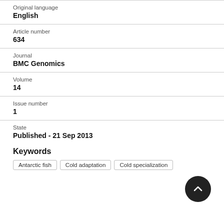Original language
English
Article number
634
Journal
BMC Genomics
Volume
14
Issue number
1
State
Published - 21 Sep 2013
Keywords
Antarctic fish
Cold adaptation
Cold specialization